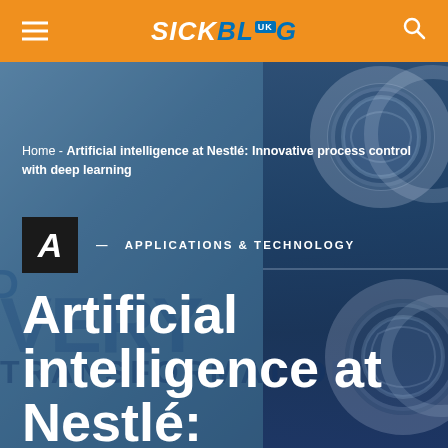SICK BLOG UK
Home - Artificial intelligence at Nestlé: Innovative process control with deep learning
A — APPLICATIONS & TECHNOLOGY
Artificial intelligence at Nestlé: Innovative
[Figure (screenshot): SICK Blog website header showing orange navigation bar with logo, hero image of digital transformation background with blue overlay, breadcrumb navigation, category badge with letter A and 'Applications & Technology', and large white bold article title 'Artificial intelligence at Nestlé: Innovative' with right-side panel showing coin/medal imagery]